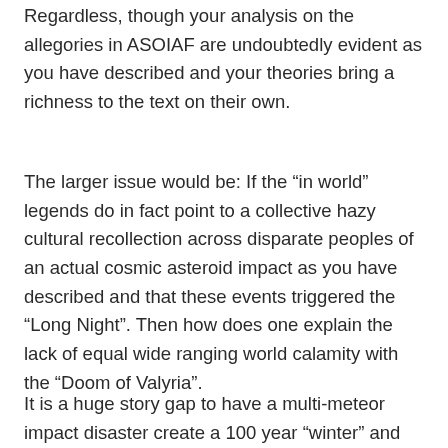Regardless, though your analysis on the allegories in ASOIAF are undoubtedly evident as you have described and your theories bring a richness to the text on their own.
The larger issue would be: If the “in world” legends do in fact point to a collective hazy cultural recollection across disparate peoples of an actual cosmic asteroid impact as you have described and that these events triggered the “Long Night”. Then how does one explain the lack of equal wide ranging world calamity with the “Doom of Valyria”.
It is a huge story gap to have a multi-meteor impact disaster create a 100 year “winter” and “long night” 8000+ years ago but have a